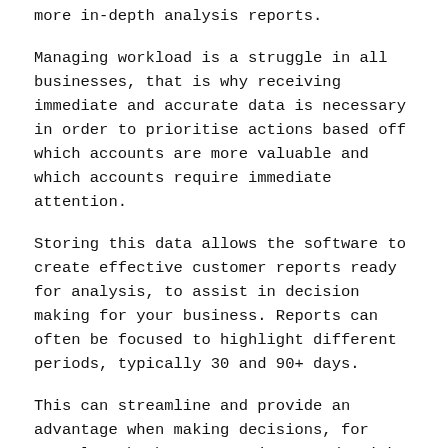more in-depth analysis reports.
Managing workload is a struggle in all businesses, that is why receiving immediate and accurate data is necessary in order to prioritise actions based off which accounts are more valuable and which accounts require immediate attention.
Storing this data allows the software to create effective customer reports ready for analysis, to assist in decision making for your business. Reports can often be focused to highlight different periods, typically 30 and 90+ days.
This can streamline and provide an advantage when making decisions, for example, whether to continue trade with a customer or deciding whether legal action is worth the costs involved.
If legal action is taken, customer correspondence